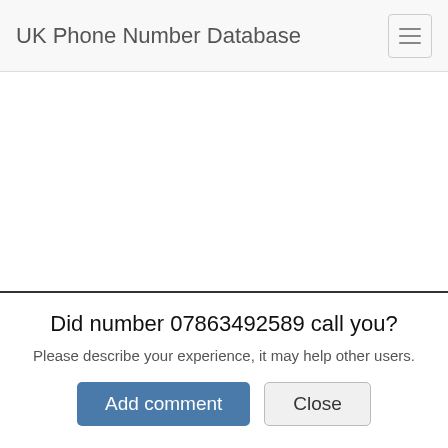UK Phone Number Database
Did number 07863492589 call you?
Please describe your experience, it may help other users.
Add comment | Close